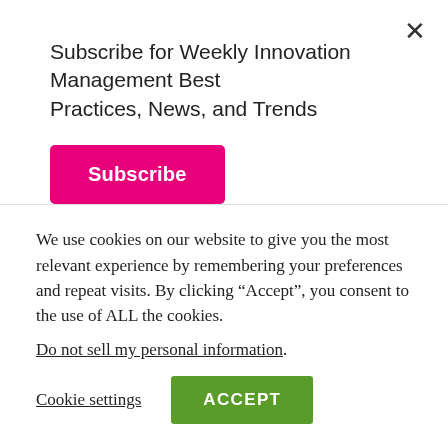Subscribe for Weekly Innovation Management Best Practices, News, and Trends
Subscribe
ineffective and (b) follow a zigzag pattern- first is increased for a couple of years; once a successful product comes out is again slashed down.
The Zigzag pattern is not typical of one industry and
We use cookies on our website to give you the most relevant experience by remembering your preferences and repeat visits. By clicking “Accept”, you consent to the use of ALL the cookies.
Do not sell my personal information.
Cookie settings
ACCEPT